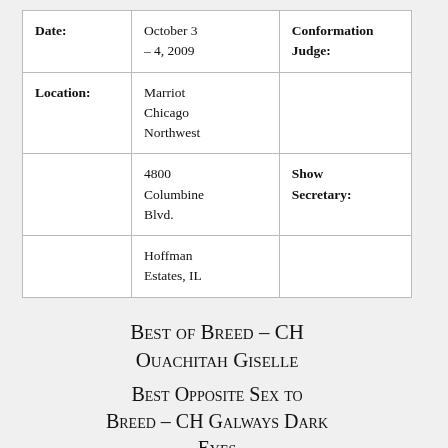| Date: | October 3 – 4, 2009 | Conformation Judge: |
| Location: | Marriot Chicago Northwest |  |
|  | 4800 Columbine Blvd. | Show Secretary: |
|  | Hoffman Estates, IL |  |
Best of Breed – CH Ouachitah Giselle
Best Opposite Sex to Breed – CH Galways Dark Eyes